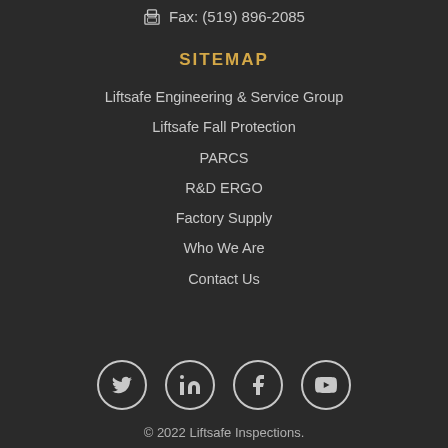Fax: (519) 896-2085
SITEMAP
Liftsafe Engineering & Service Group
Liftsafe Fall Protection
PARCS
R&D ERGO
Factory Supply
Who We Are
Contact Us
[Figure (illustration): Social media icons: Twitter, LinkedIn, Facebook, YouTube — white outlined circles on dark background]
© 2022 Liftsafe Inspections.